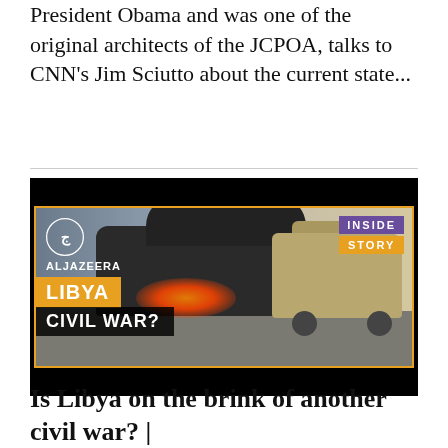President Obama and was one of the original architects of the JCPOA, talks to CNN's Jim Sciutto about the current state...
[Figure (photo): Al Jazeera 'Inside Story' video thumbnail showing a burning car and a military vehicle on a street in Libya, with overlaid text: ALJAZEERA, INSIDE STORY, LIBYA CIVIL WAR?]
Is Libya on the brink of another civil war? |